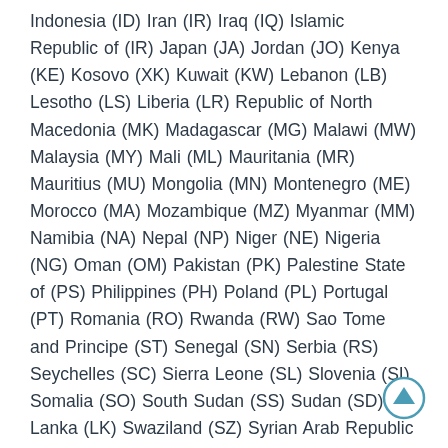Indonesia (ID) Iran (IR) Iraq (IQ) Islamic Republic of (IR) Japan (JA) Jordan (JO) Kenya (KE) Kosovo (XK) Kuwait (KW) Lebanon (LB) Lesotho (LS) Liberia (LR) Republic of North Macedonia (MK) Madagascar (MG) Malawi (MW) Malaysia (MY) Mali (ML) Mauritania (MR) Mauritius (MU) Mongolia (MN) Montenegro (ME) Morocco (MA) Mozambique (MZ) Myanmar (MM) Namibia (NA) Nepal (NP) Niger (NE) Nigeria (NG) Oman (OM) Pakistan (PK) Palestine State of (PS) Philippines (PH) Poland (PL) Portugal (PT) Romania (RO) Rwanda (RW) Sao Tome and Principe (ST) Senegal (SN) Serbia (RS) Seychelles (SC) Sierra Leone (SL) Slovenia (SI) Somalia (SO) South Sudan (SS) Sudan (SD) Sri Lanka (LK) Swaziland (SZ) Syrian Arab Republic (SY) Tanzania United Republic of (TZ) Thailand (TH) Togo (TG) Tunisia (TN) Uganda (UG) Ukraine (UA) United Arab
[Figure (other): Circular scroll-to-top button with upward arrow, teal/dark outline]